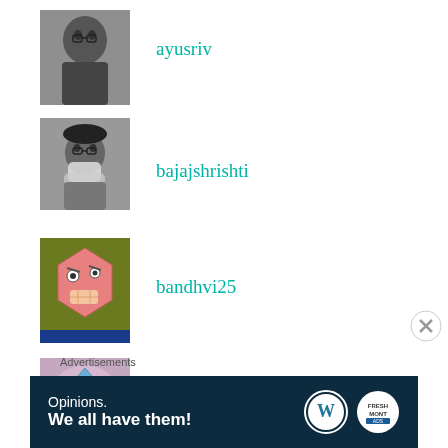[Figure (photo): Black and white photo of a young man with glasses, avatar for user ayusriv]
ayusriv
[Figure (photo): Black and white photo of a young woman wearing a mask, avatar for user bajajshrishti]
bajajshrishti
[Figure (illustration): Cartoon hexagon emoji face on olive/green background, avatar for user bandhvi25]
bandhvi25
[Figure (illustration): Blue diamond-shaped cartoon sad face emoji on pink/lavender background, avatar for Krina Kothari]
Krina Kothari
Advertisements
[Figure (screenshot): WordPress advertisement banner: 'Opinions. We all have them!' with WordPress and blog logos on dark navy background]